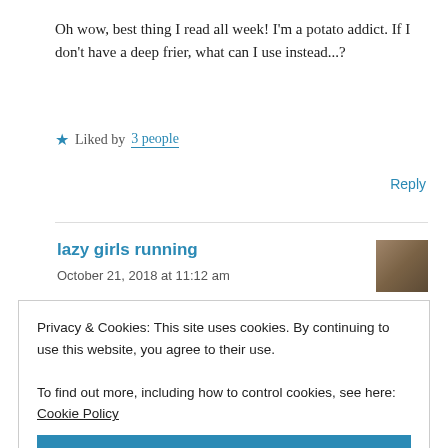Oh wow, best thing I read all week! I'm a potato addict. If I don't have a deep frier, what can I use instead...?
★ Liked by 3 people
Reply
lazy girls running
October 21, 2018 at 11:12 am
Privacy & Cookies: This site uses cookies. By continuing to use this website, you agree to their use.
To find out more, including how to control cookies, see here: Cookie Policy
Close and accept